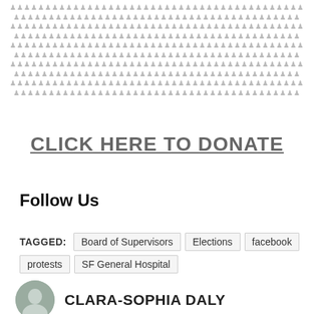[Figure (illustration): Grid of small human figure icons in light gray arranged in approximately 10 rows]
CLICK HERE TO DONATE
Follow Us
TAGGED: Board of Supervisors  Elections  facebook  protests  SF General Hospital
CLARA-SOPHIA DALY